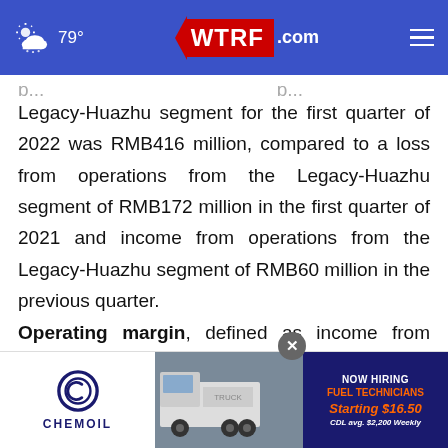79° WTRF.com
Legacy-Huazhu segment for the first quarter of 2022 was RMB416 million, compared to a loss from operations from the Legacy-Huazhu segment of RMB172 million in the first quarter of 2021 and income from operations from the Legacy-Huazhu segment of RMB60 million in the previous quarter.
Operating margin, defined as income from operations as a percentage of revenue, for the first quarter of 2022 was... with
[Figure (other): Advertisement banner with Chemoil logo on the left, a truck photo in the center, and a hiring notice on the right reading NOW HIRING FUEL TECHNICIANS Starting $16.50 CDL avg. $2,200 Weekly]